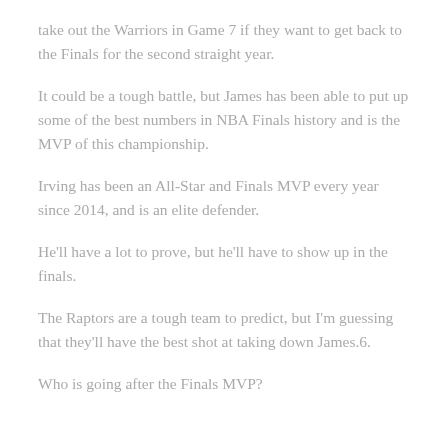take out the Warriors in Game 7 if they want to get back to the Finals for the second straight year.
It could be a tough battle, but James has been able to put up some of the best numbers in NBA Finals history and is the MVP of this championship.
Irving has been an All-Star and Finals MVP every year since 2014, and is an elite defender.
He'll have a lot to prove, but he'll have to show up in the finals.
The Raptors are a tough team to predict, but I'm guessing that they'll have the best shot at taking down James.6.
Who is going after the Finals MVP?